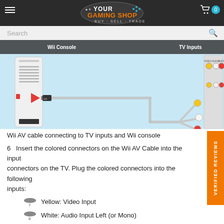Your Gaming Shop — BUY · SELL · TRADE
[Figure (illustration): Diagram showing a Wii AV cable connecting to the back of a Wii console on the left and to TV inputs (yellow, white, red RCA connectors) on the right, against a light blue background. Labels show 'Wii Console' on the left and 'TV Inputs' on the right. A red arrow points to the AV port on the Wii console.]
Wii AV cable connecting to TV inputs and Wii console
6  Insert the colored connectors on the Wii AV Cable into the input connectors on the TV. Plug the colored connectors into the following inputs:
Yellow: Video Input
White: Audio Input Left (or Mono)
Red: Audio Input Right
10 Once the cables are inserted and the Wii is powered on, find the Input Select for the TV to view the game. This is typically found by